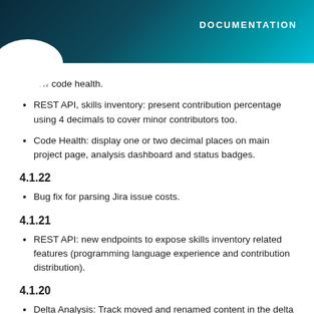DOCUMENTATION
low code health.
REST API, skills inventory: present contribution percentage using 4 decimals to cover minor contributors too.
Code Health: display one or two decimal places on main project page, analysis dashboard and status badges.
4.1.22
Bug fix for parsing Jira issue costs.
4.1.21
REST API: new endpoints to expose skills inventory related features (programming language experience and contribution distribution).
4.1.20
Delta Analysis: Track moved and renamed content in the delta